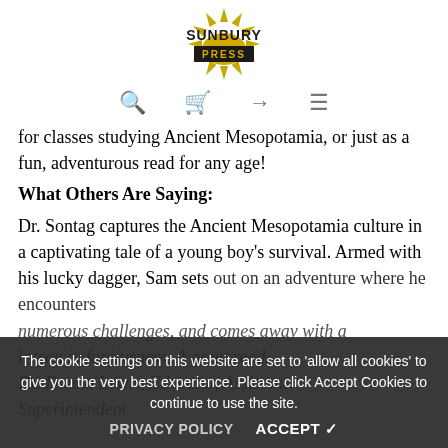[Figure (logo): Sunbury Press logo with golden sun rays and black text]
🔍  🛍  →  ☰
for classes studying Ancient Mesopotamia, or just as a fun, adventurous read for any age!
What Others Are Saying:
Dr. Sontag captures the Ancient Mesopotamia culture in a captivating tale of a young boy's survival. Armed with his lucky dagger, Sam sets out on an adventure where he encounters numerous challenges, and comes away with a lesson in forgiveness. A great read. Dr. Donna Lewis, Educator, Assistant Superintendent
The cookie settings on this website are set to 'allow all cookies' to give you the very best experience. Please click Accept Cookies to continue to use the site.
PRIVACY POLICY   ACCEPT ✔